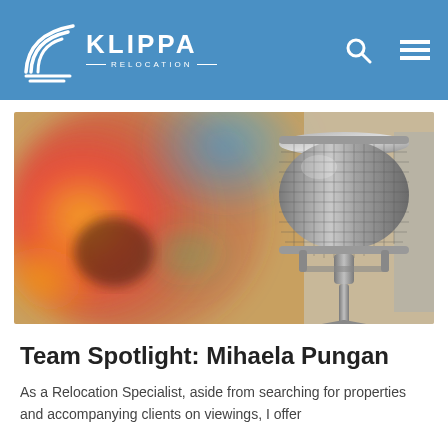KLIPPA RELOCATION
[Figure (photo): A silver condenser microphone on a tripod stand against a blurred colorful abstract background with reds, oranges, yellows, and blues.]
Team Spotlight: Mihaela Pungan
As a Relocation Specialist, aside from searching for properties and accompanying clients on viewings, I offer